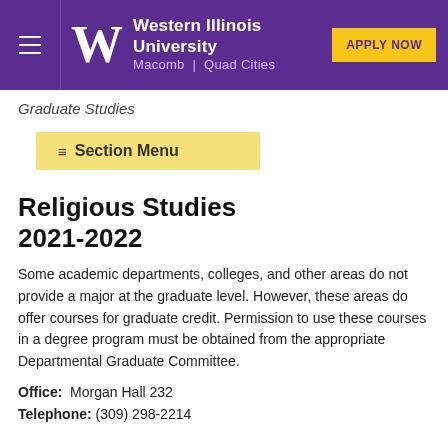Western Illinois University — Macomb | Quad Cities — APPLY NOW
Graduate Studies
≡ Section Menu
Religious Studies 2021-2022
Some academic departments, colleges, and other areas do not provide a major at the graduate level. However, these areas do offer courses for graduate credit. Permission to use these courses in a degree program must be obtained from the appropriate Departmental Graduate Committee.
Office:  Morgan Hall 232
Telephone: (309) 298-2214